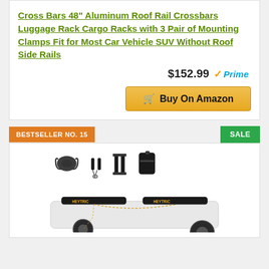Cross Bars 48" Aluminum Roof Rail Crossbars Luggage Rack Cargo Racks with 3 Pair of Mounting Clamps Fit for Most Car Vehicle SUV Without Roof Side Rails
$152.99 Prime
Buy On Amazon
BESTSELLER NO. 15
SALE
[Figure (photo): Product photo showing HEYTRIC roof rack soft crossbars on a white car, with accessories (straps, hooks, posts, bag) shown above]